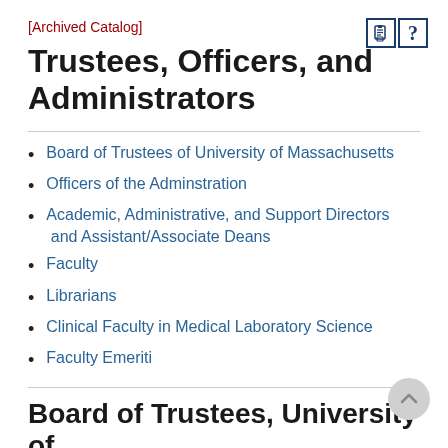[Archived Catalog]
Trustees, Officers, and Administrators
Board of Trustees of University of Massachusetts
Officers of the Adminstration
Academic, Administrative, and Support Directors and Assistant/Associate Deans
Faculty
Librarians
Clinical Faculty in Medical Laboratory Science
Faculty Emeriti
Board of Trustees, University of